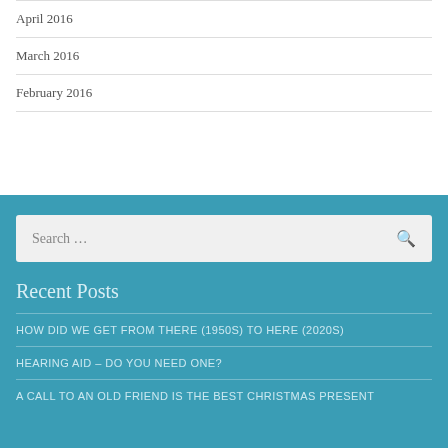April 2016
March 2016
February 2016
Recent Posts
HOW DID WE GET FROM THERE (1950s) TO HERE (2020s)
HEARING AID – DO YOU NEED ONE?
A CALL TO AN OLD FRIEND IS THE BEST CHRISTMAS PRESENT